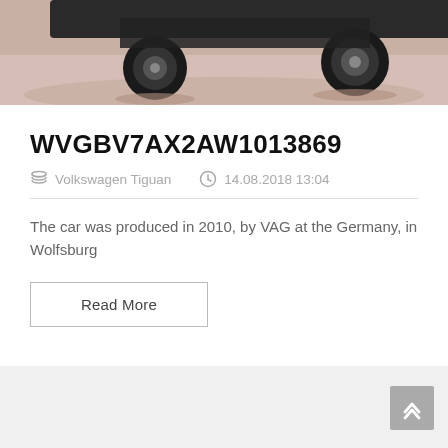[Figure (photo): Partial view of a car (Volkswagen Tiguan) photographed on a sandy/gravel surface, showing the undercarriage and wheels from below. Top portion of image cropped.]
WVGBV7AX2AW1013869
Volkswagen Tiguan   14.08.2018 13:04
The car was produced in 2010, by VAG at the Germany, in Wolfsburg
Read More